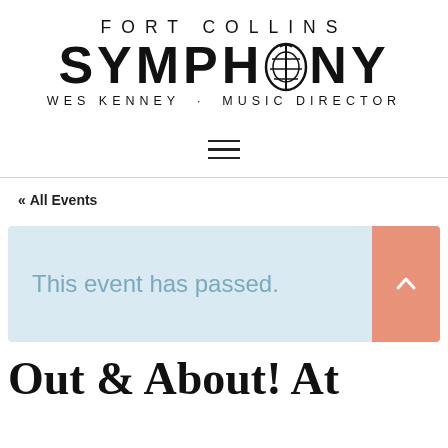[Figure (logo): Fort Collins Symphony logo with lyre symbol in the O of SYMPHONY, and text WES KENNEY · MUSIC DIRECTOR]
[Figure (other): Hamburger menu icon (three horizontal lines)]
« All Events
This event has passed.
Out & About! At